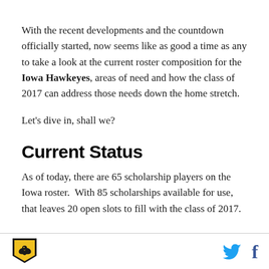With the recent developments and the countdown officially started, now seems like as good a time as any to take a look at the current roster composition for the Iowa Hawkeyes, areas of need and how the class of 2017 can address those needs down the home stretch.
Let's dive in, shall we?
Current Status
As of today, there are 65 scholarship players on the Iowa roster.  With 85 scholarships available for use, that leaves 20 open slots to fill with the class of 2017.
[Figure (logo): Iowa Hawkeyes logo — black and gold shield with hawk emblem]